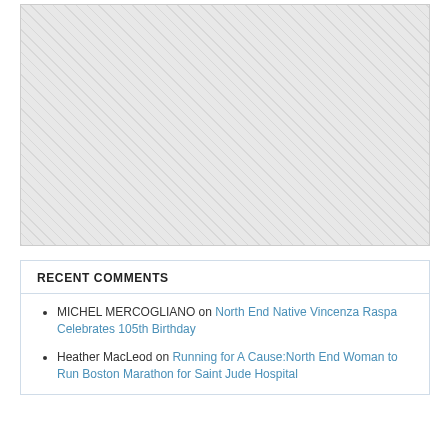[Figure (other): Gray hatched placeholder image area]
RECENT COMMENTS
MICHEL MERCOGLIANO on North End Native Vincenza Raspa Celebrates 105th Birthday
Heather MacLeod on Running for A Cause:North End Woman to Run Boston Marathon for Saint Jude Hospital